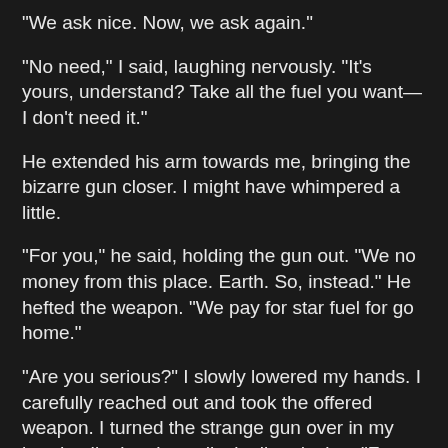"We ask nice. Now, we ask again."
"No need," I said, laughing nervously. "It's yours, understand? Take all the fuel you want—I don't need it."
He extended his arm towards me, bringing the bizarre gun closer. I might have whimpered a little.
"For you," he said, holding the gun out. "We no money from this place. Earth. So, instead." He hefted the weapon. "We pay for star fuel for go home."
"Are you serious?" I slowly lowered my hands. I carefully reached out and took the offered weapon. I turned the strange gun over in my hands, digging the radical, alien design. "Far out."
"For fuel." The strange fellow made an awkward bow. "Thank you."
"You're welcome," I said, awed by the alien tech in my hands. I was barely aware of him turning and bouncing down